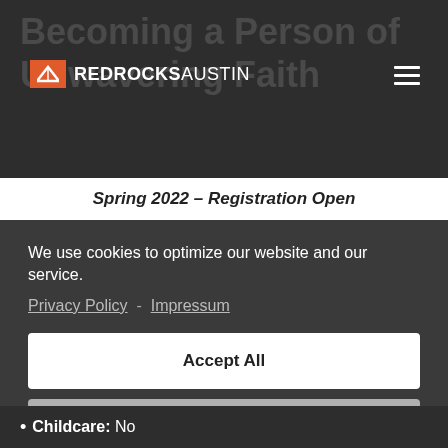Red Rocks Austin
Becoming a Person of Unwavering Faith
Spring 2022 – Registration Open
We use cookies to optimize our website and our service. Privacy Policy - Impressum
Accept All
Decline
Preferences
Childcare: No